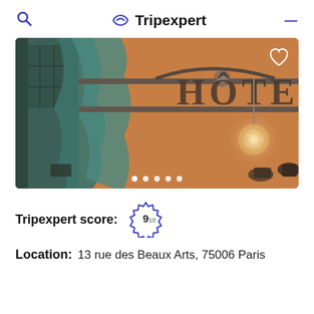Tripexpert
[Figure (photo): Hotel entrance photo showing ornate metal signage reading 'HÔTE' (Hotel) with warm orange/amber ambient lighting, teal curtains and decorative chandeliers]
Tripexpert score: 9/10
Location: 13 rue des Beaux Arts, 75006 Paris